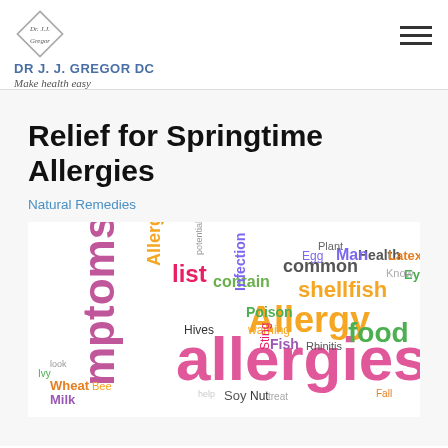DR J. J. GREGOR DC — Make health easy
Relief for Springtime Allergies
Natural Remedies
[Figure (infographic): Word cloud featuring allergy-related terms such as 'allergies', 'Allergy', 'symptoms', 'food', 'shellfish', 'common', 'Infection', 'Poison', 'Hives', 'Rhinitis', 'Fish', 'Sting', 'Soy', 'Wheat', 'Milk', 'Bee', 'Ivy', 'Latex', 'Health', 'Plant', 'Egg', and others, displayed in multiple colors and varying font sizes.]